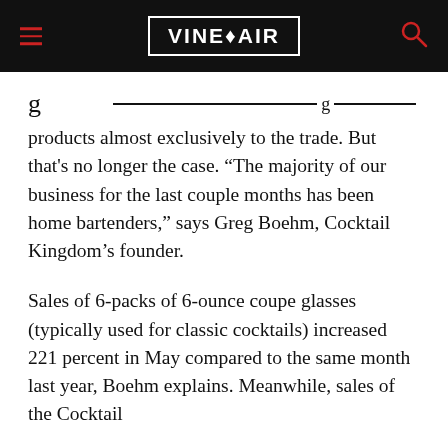VinePair
products almost exclusively to the trade. But that's no longer the case. “The majority of our business for the last couple months has been home bartenders,” says Greg Boehm, Cocktail Kingdom’s founder.
Sales of 6-packs of 6-ounce coupe glasses (typically used for classic cocktails) increased 221 percent in May compared to the same month last year, Boehm explains. Meanwhile, sales of the Cocktail